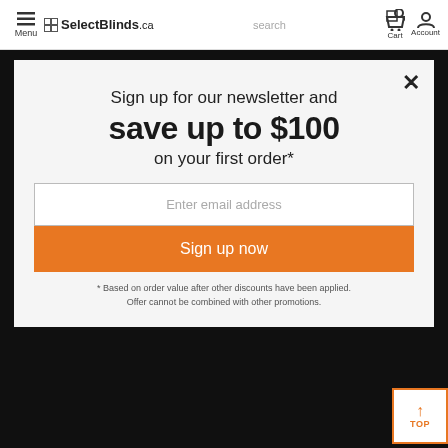[Figure (screenshot): SelectBlinds.ca website navigation bar with menu, logo, search, cart, and account icons]
[Figure (screenshot): Newsletter signup modal popup over dark product images background. Modal says: Sign up for our newsletter and save up to $100 on your first order*. Has email input field and orange Sign up now button. Footnote: * Based on order value after other discounts have been applied. Offer cannot be combined with other promotions.]
Sign up for our newsletter and
save up to $100
on your first order*
Enter email address
Sign up now
* Based on order value after other discounts have been applied. Offer cannot be combined with other promotions.